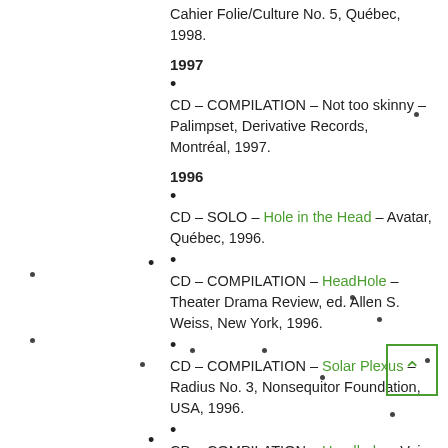Cahier Folie/Culture No. 5, Québec, 1998.
1997
CD – COMPILATION – Not too skinny – Palimpset, Derivative Records, Montréal, 1997.
1996
CD – SOLO – Hole in the Head – Avatar, Québec, 1996.
CD – COMPILATION – HeadHole – Theater Drama Review, ed. Allen S. Weiss, New York, 1996.
CD – COMPILATION – Solar Plexus – Radius No. 3, Nonsequitor Foundation, USA, 1996.
CD – COMPILATION – Headhole – Voice